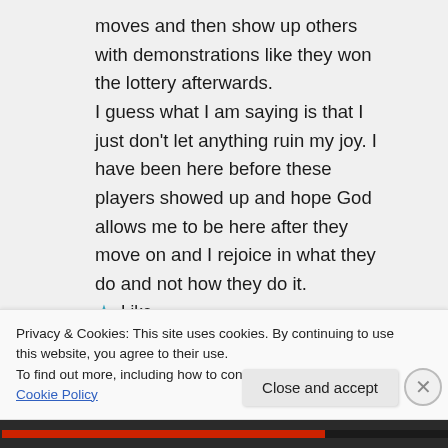moves and then show up others with demonstrations like they won the lottery afterwards. I guess what I am saying is that I just don't let anything ruin my joy. I have been here before these players showed up and hope God allows me to be here after they move on and I rejoice in what they do and not how they do it.
★ Like
Privacy & Cookies: This site uses cookies. By continuing to use this website, you agree to their use.
To find out more, including how to control cookies, see here: Cookie Policy
Close and accept